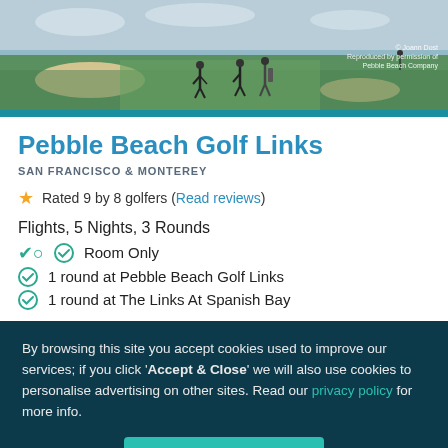[Figure (photo): Golf course photo showing golfers on a green fairway at Pebble Beach with sand bunkers and ocean/sky in background. Copyright credit: © Joann Dost, Reproduced by permission of Pebble Beach Company]
Pebble Beach Golf Links
SAN FRANCISCO & MONTEREY
Rated 9 by 8 golfers (Read reviews)
Flights, 5 Nights, 3 Rounds
Room Only
1 round at Pebble Beach Golf Links
1 round at The Links At Spanish Bay
By browsing this site you accept cookies used to improve our services; if you click 'Accept & Close' we will also use cookies to personalise advertising on other sites. Read our privacy policy for more info.
ACCEPT & CLOSE
Reject personalised marketing